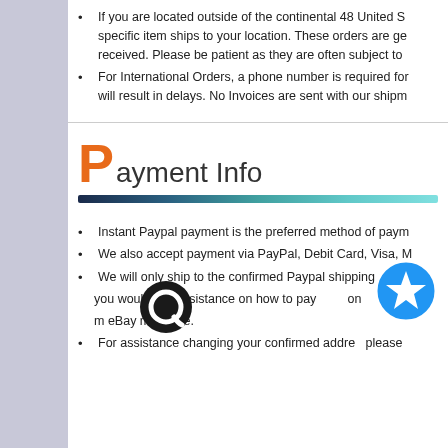If you are located outside of the continental 48 United S... specific item ships to your location. These orders are ge... received. Please be patient as they are often subject to...
For International Orders, a phone number is required fo... will result in delays. No Invoices are sent with our shipm...
Payment Info
Instant Paypal payment is the preferred method of paym...
We also accept payment via PayPal, Debit Card, Visa, M...
We will only ship to the confirmed Paypal shipping addre...
you would like assistance on how to pay... on... m eBay message.
For assistance changing your confirmed addre... please...